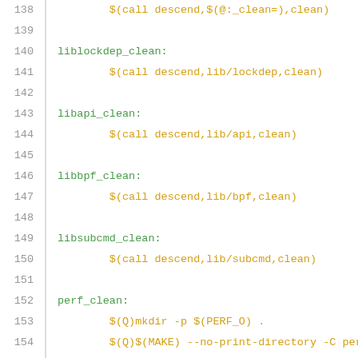138	$(call descend,$(@:_clean=),clean)
139
140	liblockdep_clean:
141		$(call descend,lib/lockdep,clean)
142
143	libapi_clean:
144		$(call descend,lib/api,clean)
145
146	libbpf_clean:
147		$(call descend,lib/bpf,clean)
148
149	libsubcmd_clean:
150		$(call descend,lib/subcmd,clean)
151
152	perf_clean:
153		$(Q)mkdir -p $(PERF_O) .
154		$(Q)$(MAKE) --no-print-directory -C per
155
156	selftests_clean:
157		$(call descend,testing/$(@:_clean=),clea
158
159	turbotot_clean ySC gramy paof polisu alogn